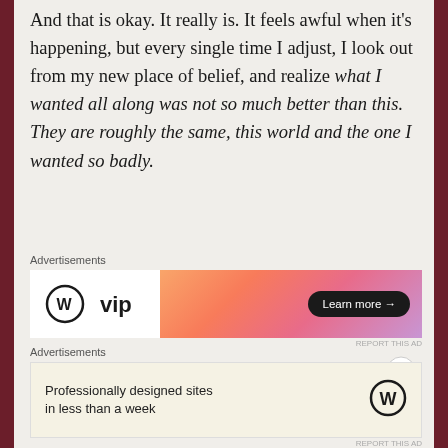And that is okay. It really is. It feels awful when it's happening, but every single time I adjust, I look out from my new place of belief, and realize what I wanted all along was not so much better than this. They are roughly the same, this world and the one I wanted so badly.
[Figure (other): WordPress VIP advertisement banner with gradient orange-pink background and Learn more button]
I think of my parents' turtle in moments like these. He does do a whole lot, mostly sitting and sunning himself all day, but when a cricket or a fish
[Figure (other): WordPress advertisement: Professionally designed sites in less than a week]